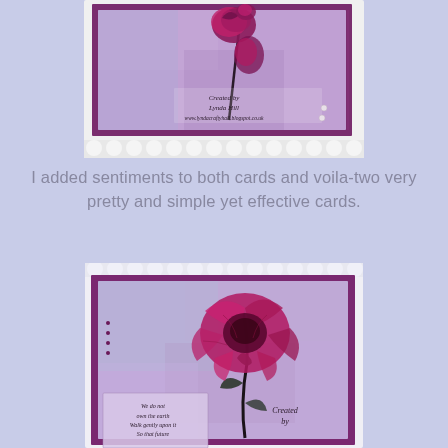[Figure (photo): Handmade greeting card with purple/pink flower stamp on lavender textured background, mounted on white scalloped card with purple mat. Text reads 'Created by Lynda Hill www.lyndacraftyhall.blogspot.co.uk']
I added sentiments to both cards and voila-two very pretty and simple yet effective cards.
[Figure (photo): Handmade greeting card with large pink/magenta poppy flower stamp on lavender textured background, mounted on white scalloped card with purple mat. Contains sentiment text box and 'Created by...' script text.]